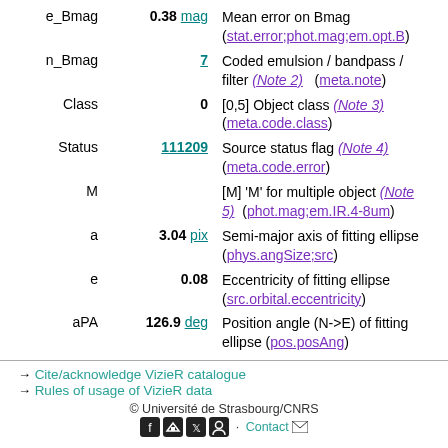e_Bmag  0.38 mag  Mean error on Bmag (stat.error;phot.mag;em.opt.B)
n_Bmag  7  Coded emulsion / bandpass / filter (Note 2) (meta.note)
Class  0  [0,5] Object class (Note 3) (meta.code.class)
Status  111209  Source status flag (Note 4) (meta.code.error)
M    [M] 'M' for multiple object (Note 5) (phot.mag;em.IR.4-8um)
a  3.04 pix  Semi-major axis of fitting ellipse (phys.angSize;src)
e  0.08  Eccentricity of fitting ellipse (src.orbital.eccentricity)
aPA  126.9 deg  Position angle (N->E) of fitting ellipse (pos.posAng)
→ Cite/acknowledge VizieR catalogue
→ Rules of usage of VizieR data
© Université de Strasbourg/CNRS
Contact